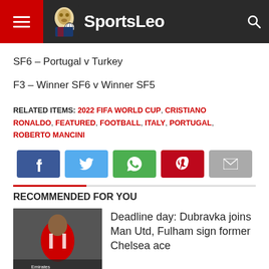SportsLeo
SF6 – Portugal v Turkey
F3 – Winner SF6 v Winner SF5
RELATED ITEMS: 2022 FIFA WORLD CUP, CRISTIANO RONALDO, FEATURED, FOOTBALL, ITALY, PORTUGAL, ROBERTO MANCINI
[Figure (other): Social share buttons: Facebook, Twitter, WhatsApp, Pinterest, Email]
RECOMMENDED FOR YOU
[Figure (photo): Arsenal player photo thumbnail]
Deadline day: Dubravka joins Man Utd, Fulham sign former Chelsea ace